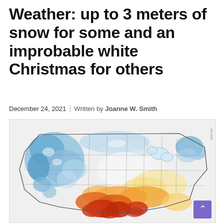Weather: up to 3 meters of snow for some and an improbable white Christmas for others
December 24, 2021 | Written by Joanne W. Smith
[Figure (map): US weather map showing temperature anomalies. Western and northeastern US shown in blue (cold/snow), southern US shown in orange to red (warm). The map depicts snow and temperature forecast across the contiguous United States around Christmas 2021.]